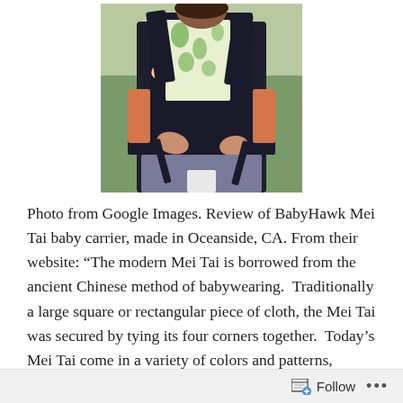[Figure (photo): A woman wearing a black BabyHawk Mei Tai baby carrier with an orange shirt, holding a baby in a green and white patterned fabric insert. Outdoor setting.]
Photo from Google Images. Review of BabyHawk Mei Tai baby carrier, made in Oceanside, CA. From their website: “The modern Mei Tai is borrowed from the ancient Chinese method of babywearing.  Traditionally a large square or rectangular piece of cloth, the Mei Tai was secured by tying its four corners together.  Today’s Mei Tai come in a variety of colors and patterns, offering on-the-go families
Follow ...